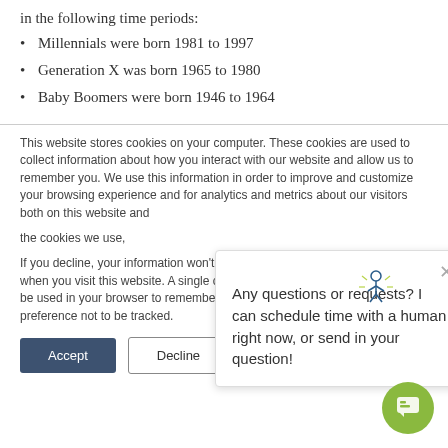in the following time periods:
Millennials were born 1981 to 1997
Generation X was born 1965 to 1980
Baby Boomers were born 1946 to 1964
This website stores cookies on your computer. These cookies are used to collect information about how you interact with our website and allow us to remember you. We use this information in order to improve and customize your browsing experience and for analytics and metrics about our visitors both on this website and the cookies we use,
If you decline, your information won't be tracked when you visit this website. A single cookie will be used in your browser to remember your preference not to be tracked.
Any questions or requests? I can schedule time with a human right now, or send in your question!